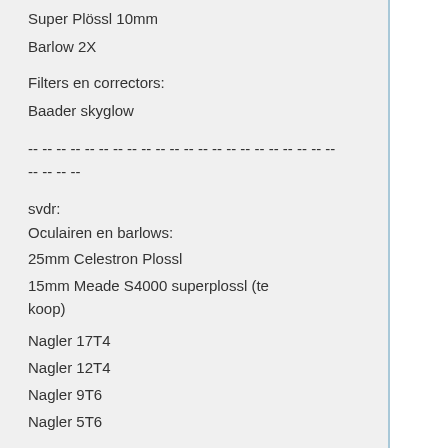Super Plössl 10mm
Barlow 2X
Filters en correctors:
Baader skyglow
-- -- -- -- -- -- -- -- -- -- -- -- -- -- -- -- -- -- -- -- -- -- --
svdr:
Oculairen en barlows:
25mm Celestron Plossl
15mm Meade S4000 superplossl (te koop)
Nagler 17T4
Nagler 12T4
Nagler 9T6
Nagler 5T6
Celestron Ultima 2x barlow
Filters en correctors:
2" Baader O-III
2" Astronomik UHCE